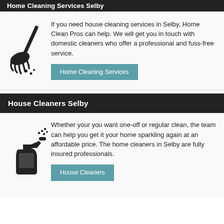Home Cleaning Services Selby
[Figure (illustration): Broom/brush cleaning icon in black]
If you need house cleaning services in Selby, Home Clean Pros can help. We will get you in touch with domestic cleaners who offer a professional and fuss-free service.
Home Cleaning Services
House Cleaners Selby
[Figure (illustration): Spray bottle cleaning icon in black]
Whether your you want one-off or regular clean, the team can help you get it your home sparkling again at an affordable price. The home cleaners in Selby are fully insured professionals.
House Cleaners